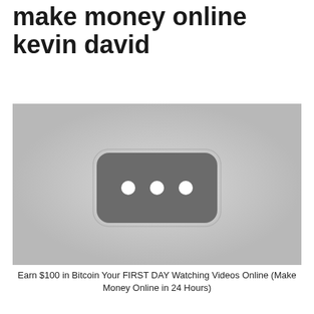make money online kevin david
[Figure (screenshot): A YouTube video thumbnail placeholder showing a dark rounded rectangle with three white circles (loading indicator) on a light gray background, simulating an unloaded video thumbnail.]
Earn $100 in Bitcoin Your FIRST DAY Watching Videos Online (Make Money Online in 24 Hours)